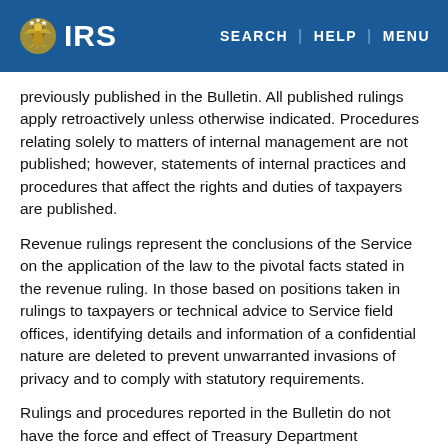IRS — SEARCH | HELP | MENU
previously published in the Bulletin. All published rulings apply retroactively unless otherwise indicated. Procedures relating solely to matters of internal management are not published; however, statements of internal practices and procedures that affect the rights and duties of taxpayers are published.
Revenue rulings represent the conclusions of the Service on the application of the law to the pivotal facts stated in the revenue ruling. In those based on positions taken in rulings to taxpayers or technical advice to Service field offices, identifying details and information of a confidential nature are deleted to prevent unwarranted invasions of privacy and to comply with statutory requirements.
Rulings and procedures reported in the Bulletin do not have the force and effect of Treasury Department Regulations, but they may be used as precedents. Unpublished rulings will not be relied on, used, or cited as precedents by Service personnel in the disposition of…